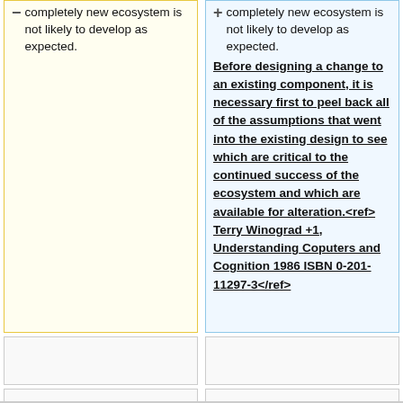– completely new ecosystem is not likely to develop as expected.
+ completely new ecosystem is not likely to develop as expected. Before designing a change to an existing component, it is necessary first to peel back all of the assumptions that went into the existing design to see which are critical to the continued success of the ecosystem and which are available for alteration.<ref> Terry Winograd +1, Understanding Coputers and Cognition 1986 ISBN 0-201-11297-3</ref>
==Solutions==
==Solutions==